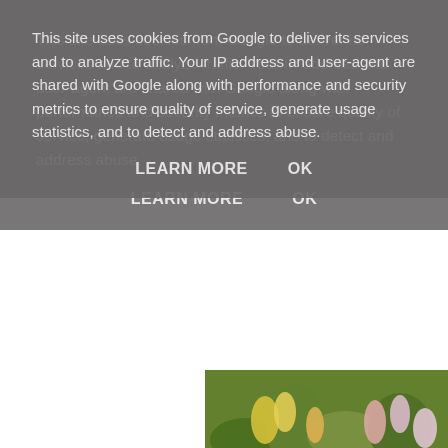This site uses cookies from Google to deliver its services and to analyze traffic. Your IP address and user-agent are shared with Google along with performance and security metrics to ensure quality of service, generate usage statistics, and to detect and address abuse.
LEARN MORE   OK
[Figure (photo): Partial view of flowering plant with pink and yellow honeysuckle-like blossoms against green foliage]
[Figure (illustration): Silent Sunday badge/logo card with teal serif text 'Silent Sunday' and smaller text 'One photo. No WORDS. cosmicgirlie.com' on white background with light gray border]